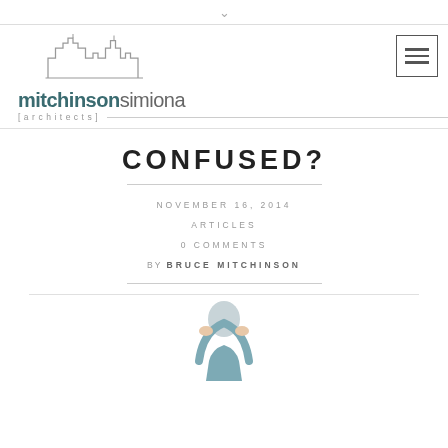∨
[Figure (logo): Mitchinson Simiona Architects logo with skyline illustration and text 'mitchinsonsimiona [architects]']
CONFUSED?
NOVEMBER 16, 2014
ARTICLES
0 COMMENTS
BY BRUCE MITCHINSON
[Figure (photo): Person with head in hands, appearing confused, wearing a blue shirt]